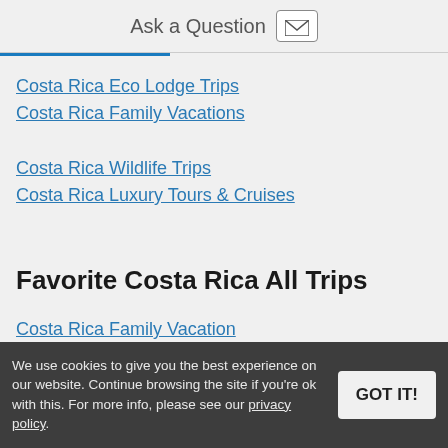Ask a Question
Costa Rica Eco Lodge Trips
Costa Rica Family Vacations
Costa Rica Wildlife Trips
Costa Rica Luxury Tours & Cruises
Favorite Costa Rica All Trips
Costa Rica Family Vacation
Beaches & Rainforest
Discover Costa Rica
We use cookies to give you the best experience on our website. Continue browsing the site if you're ok with this. For more info, please see our privacy policy.